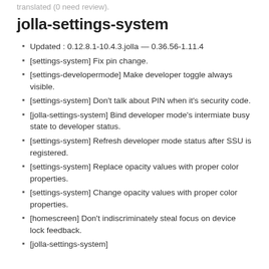translated (0 need review).
jolla-settings-system
Updated : 0.12.8.1-10.4.3.jolla — 0.36.56-1.11.4
[settings-system] Fix pin change.
[settings-developermode] Make developer toggle always visible.
[settings-system] Don't talk about PIN when it's security code.
[jolla-settings-system] Bind developer mode's intermiate busy state to developer status.
[settings-system] Refresh developer mode status after SSU is registered.
[settings-system] Replace opacity values with proper color properties.
[settings-system] Change opacity values with proper color properties.
[homescreen] Don't indiscriminately steal focus on device lock feedback.
[jolla-settings-system] ...